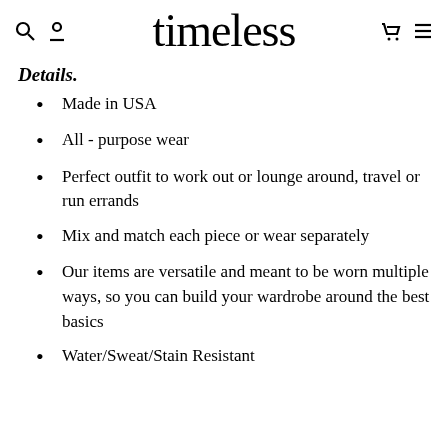timeless
Details.
Made in USA
All - purpose wear
Perfect outfit to work out or lounge around, travel or run errands
Mix and match each piece or wear separately
Our items are versatile and meant to be worn multiple ways, so you can build your wardrobe around the best basics
Water/Sweat/Stain Resistant